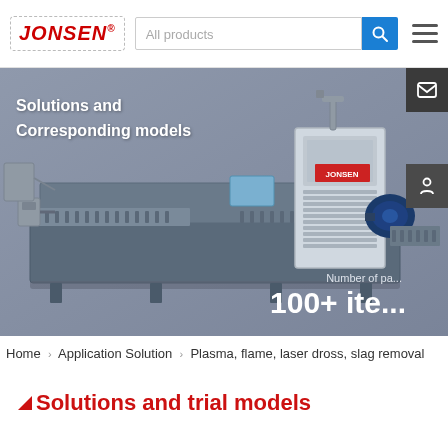JONSEN® — All products search bar and navigation
[Figure (photo): Industrial metal surface grinding/deburring machine (JONSEN brand) photographed against a blue-gray background. Long flatbed conveyor-style machine with control panel, motor and industrial components.]
Solutions and Corresponding models
Number of pa... 100+ items
Home › Application Solution › Plasma, flame, laser dross, slag removal
Solutions and trial models